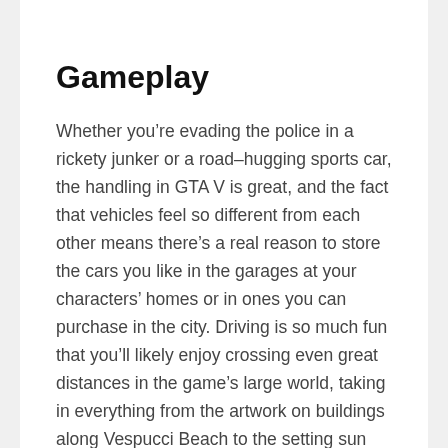Gameplay
Whether you’re evading the police in a rickety junker or a road–hugging sports car, the handling in GTA V is great, and the fact that vehicles feel so different from each other means there’s a real reason to store the cars you like in the garages at your characters’ homes or in ones you can purchase in the city. Driving is so much fun that you’ll likely enjoy crossing even great distances in the game’s large world, taking in everything from the artwork on buildings along Vespucci Beach to the setting sun reflecting on the Alamo Sea. Should you tire of commuting across Los Santos, however, you can call a cab and warp to your.
When shooting breaks out, as it often does in the lives of these criminals, you have a terrific variety of weapons at